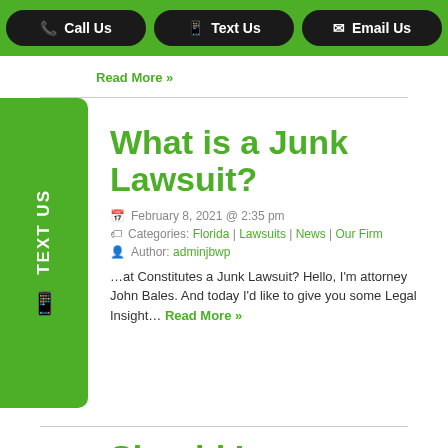Call Us | Text Us | Email Us
Read More »
What is a Junk Lawsuit?
February 8, 2021 @ 2:35 pm
Categories: Florida | Lawsuits | News | Our Firm
Author: adminjbwp
...at Constitutes a Junk Lawsuit? Hello, I'm attorney John Bales. And today I'd like to give you some Legal Insight... Read More »
Should I Represent Myself